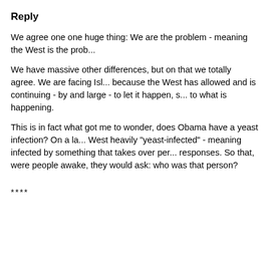Reply
We agree one one huge thing: We are the problem - meaning the West is the prob...
We have massive other differences, but on that we totally agree. We are facing Isl... because the West has allowed and is continuing - by and large - to let it happen, s... to what is happening.
This is in fact what got me to wonder, does Obama have a yeast infection? On a la... West heavily "yeast-infected" - meaning infected by something that takes over per... responses. So that, were people awake, they would ask: who was that person?
****